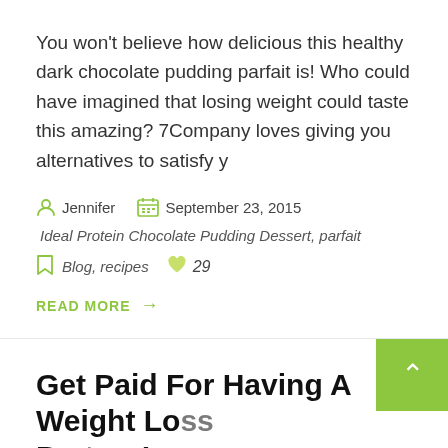You won't believe how delicious this healthy dark chocolate pudding parfait is! Who could have imagined that losing weight could taste this amazing? 7Company loves giving you alternatives to satisfy y
Jennifer   September 23, 2015
Ideal Protein Chocolate Pudding Dessert, parfait
Blog, recipes   29
READ MORE →
Get Paid For Having A Weight Loss Partner!